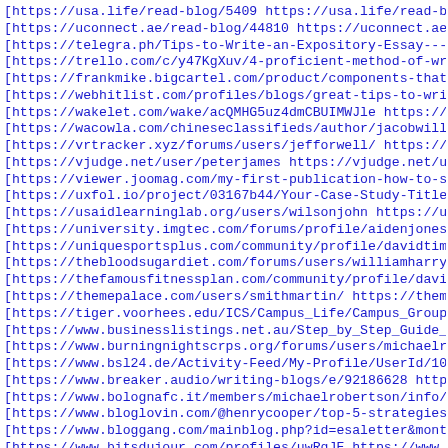[https://usa.life/read-blog/5409 https://usa.life/read-blog
[https://uconnect.ae/read-blog/44810 https://uconnect.ae/re
[https://telegra.ph/Tips-to-Write-an-Expository-Essay---202
[https://trello.com/c/y47KgXuv/4-proficient-method-of-writi
[https://frankmike.bigcartel.com/product/components-that-ma
[https://webhitlist.com/profiles/blogs/great-tips-to-write-
[https://wakelet.com/wake/acQMHG5uz4dmCBUIMWJle https://wak
[https://wacowla.com/chineseclassifieds/author/jacobwill/ h
[https://vrtracker.xyz/forums/users/jefforwell/ https://vrt
[https://vjudge.net/user/peterjames https://vjudge.net/user
[https://viewer.joomag.com/my-first-publication-how-to-shor
[https://uxfol.io/project/03167b44/Your-Case-Study-Title ht
[https://usaidlearninglab.org/users/wilsonjohn https://usai
[https://university.imgtec.com/forums/profile/aidenjones/ h
[https://uniquesportsplus.com/community/profile/davidtim/ h
[https://thebloodsugardiet.com/forums/users/williamharry/ h
[https://thefamousfitnessplan.com/community/profile/david-b
[https://themepalace.com/users/smithmartin/ https://themepa
[https://tiger.voorhees.edu/ICS/Campus_Life/Campus_Groups/C
[https://www.businesslistings.net.au/Step_by_Step_Guide_To_
[https://www.burningnightscrps.org/forums/users/michaelrobe
[https://www.bsl24.de/Activity-Feed/My-Profile/UserId/10714
[https://www.breaker.audio/writing-blogs/e/92186628 https:/
[https://www.bolognafc.it/members/michaelrobertson/info/ ht
[https://www.bloglovin.com/@henrycooper/top-5-strategies-su
[https://www.bloggang.com/mainblog.php?id=esaletter&month=1
[https://www.bitsdujour.com/profiles/uwRqJE https://www.bit
[https://www.bitsdujour.com/profiles/HhR8Wa https://www.bit
[https://www.bitsdujour.com/profiles/LFPnZZ https://www.bit
[https://...bitsdujour.com/profiles/[???] https://...bit